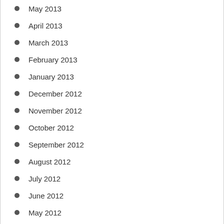May 2013
April 2013
March 2013
February 2013
January 2013
December 2012
November 2012
October 2012
September 2012
August 2012
July 2012
June 2012
May 2012
April 2012
March 2012
February 2012
January 2012
December 2011
November 2011
October 2011
September 2011